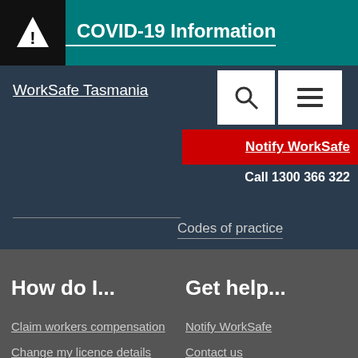COVID-19 Information
WorkSafe Tasmania
Notify WorkSafe
Call 1300 366 322
Codes of practice
How do I...
Get help...
Claim workers compensation
Notify WorkSafe
Change my licence details
Contact us